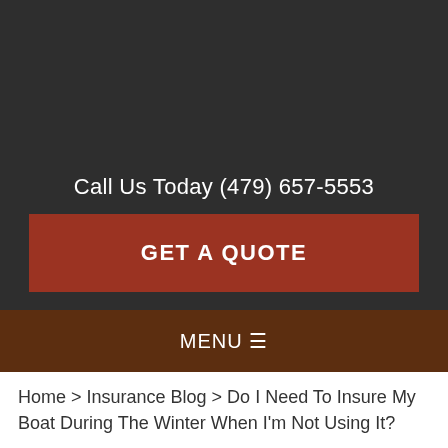Call Us Today (479) 657-5553
GET A QUOTE
MENU ☰
Home > Insurance Blog > Do I Need To Insure My Boat During The Winter When I'm Not Using It?